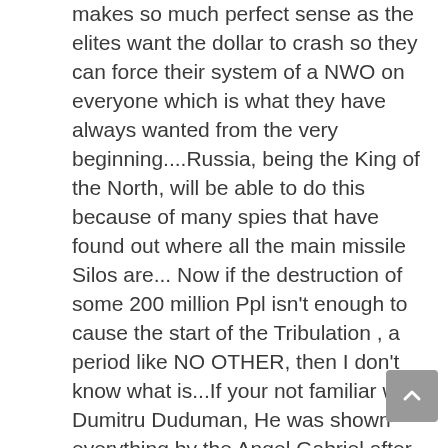makes so much perfect sense as the elites want the dollar to crash so they can force their system of a NWO on everyone which is what they have always wanted from the very beginning....Russia, being the King of the North, will be able to do this because of many spies that have found out where all the main missile Silos are... Now if the destruction of some 200 million Ppl isn't enough to cause the start of the Tribulation , a period like NO OTHER, then I don't know what is...If your not familiar with Dumitru Duduman, He was shown everything by the Angel Gabriel after smuggling for many years, some 300,000 Bibles into eastern block countries and being imprisoned many times and being beaten and electrocuted so badly that He lost ALL of his